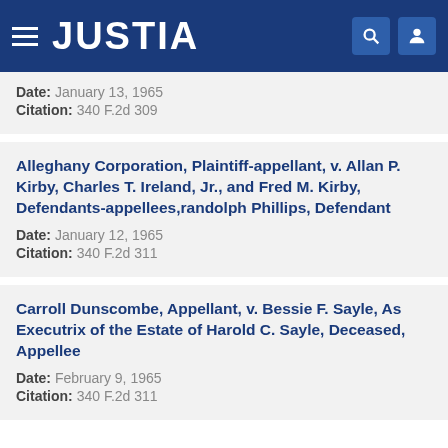JUSTIA
Date: January 13, 1965
Citation: 340 F.2d 309
Alleghany Corporation, Plaintiff-appellant, v. Allan P. Kirby, Charles T. Ireland, Jr., and Fred M. Kirby, Defendants-appellees,randolph Phillips, Defendant
Date: January 12, 1965
Citation: 340 F.2d 311
Carroll Dunscombe, Appellant, v. Bessie F. Sayle, As Executrix of the Estate of Harold C. Sayle, Deceased, Appellee
Date: February 9, 1965
Citation: 340 F.2d 311